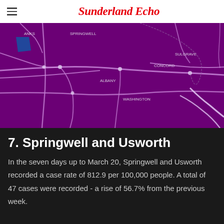Sunderland Echo
[Figure (map): Purple-toned map showing Washington area with road networks and location labels including SPRINGWELL, SULGRAVE, CONCORD, ALBANY, and WASHINGTON]
7. Springwell and Usworth
In the seven days up to March 20, Springwell and Usworth recorded a case rate of 812.9 per 100,000 people. A total of 47 cases were recorded - a rise of 56.7% from the previous week.